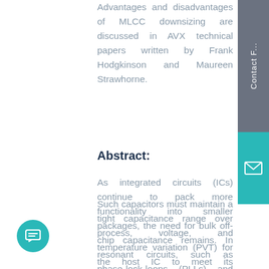Advantages and disadvantages of MLCC downsizing are discussed in AVX technical papers written by Frank Hodgkinson and Maureen Strawhorne.
Abstract:
As integrated circuits (ICs) continue to pack more functionality into smaller packages, the need for bulk off-chip capacitance remains. In resonant circuits, such as phase-lock-loops (PLLs) and switching regulators, precision class one ceramic capacitor may be required.
Such capacitors must maintain a tight capacitance range over process, voltage, and temperature variation (PVT) for the host IC to meet its performance